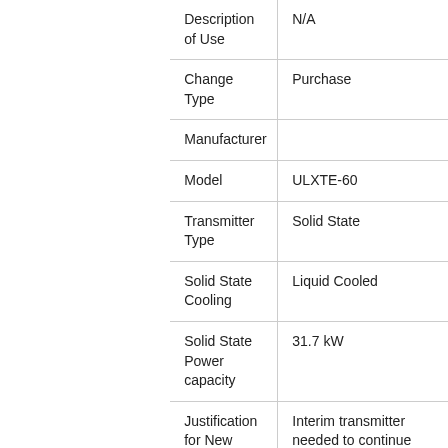| Field | Value |
| --- | --- |
| Description of Use | N/A |
| Change Type | Purchase |
| Manufacturer |  |
| Model | ULXTE-60 |
| Transmitter Type | Solid State |
| Solid State Cooling | Liquid Cooled |
| Solid State Power capacity | 31.7 kW |
| Justification for New Transmitter | Interim transmitter needed to continue broadcasting through transition period. |